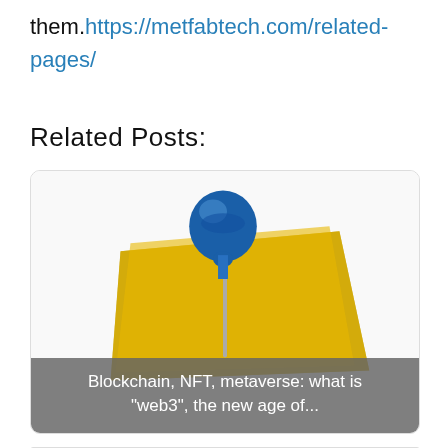them. https://metfabtech.com/related-pages/
Related Posts:
[Figure (illustration): A blue thumbtack pinned into a yellow sticky note, used as a decorative thumbnail for a blog post card titled 'Blockchain, NFT, metaverse: what is "web3", the new age of...']
[Figure (illustration): A blue thumbtack pinned into a yellow sticky note, used as a decorative thumbnail for a second blog post card, partially visible at bottom of page]